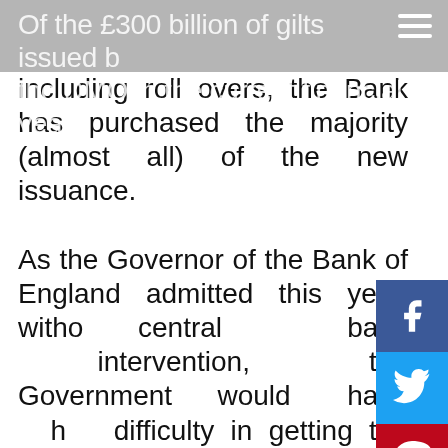Of the £300 billion of gilts issued by the DMO in the current financial year,
including roll overs, the Bank has purchased the majority (almost all) of the new issuance.

As the Governor of the Bank of England admitted this year, without central bank intervention, the Government would have had difficulty in getting the volume of gilts away. The government was confronted with a possible gilt strike